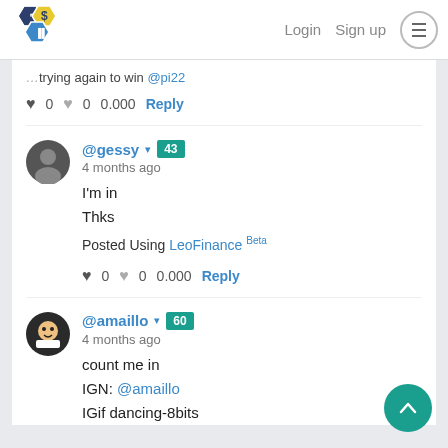Login  Sign up
trying again to win @pi22
♥ 0   ♥ 0   0.000   Reply
@gessy ▾  43
4 months ago
I'm in
Thks

Posted Using LeoFinance Beta
♥ 0   ♥ 0   0.000   Reply
@amaillo ▾  60
4 months ago
count me in
IGN: @amaillo
IGif dancing-8bits